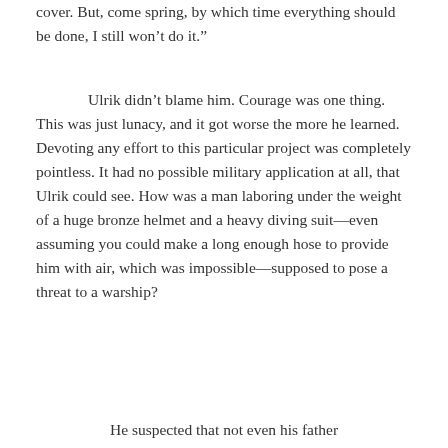cover. But, come spring, by which time everything should be done, I still won’t do it.”
Ulrik didn’t blame him. Courage was one thing. This was just lunacy, and it got worse the more he learned. Devoting any effort to this particular project was completely pointless. It had no possible military application at all, that Ulrik could see. How was a man laboring under the weight of a huge bronze helmet and a heavy diving suit—even assuming you could make a long enough hose to provide him with air, which was impossible—supposed to pose a threat to a warship?
He suspected that not even his father